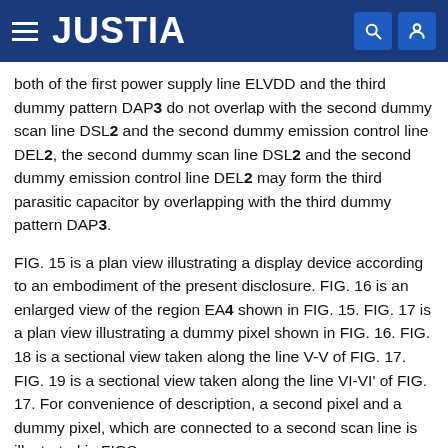JUSTIA
both of the first power supply line ELVDD and the third dummy pattern DAP3 do not overlap with the second dummy scan line DSL2 and the second dummy emission control line DEL2, the second dummy scan line DSL2 and the second dummy emission control line DEL2 may form the third parasitic capacitor by overlapping with the third dummy pattern DAP3.
FIG. 15 is a plan view illustrating a display device according to an embodiment of the present disclosure. FIG. 16 is an enlarged view of the region EA4 shown in FIG. 15. FIG. 17 is a plan view illustrating a dummy pixel shown in FIG. 16. FIG. 18 is a sectional view taken along the line V-V of FIG. 17. FIG. 19 is a sectional view taken along the line VI-VI' of FIG. 17. For convenience of description, a second pixel and a dummy pixel, which are connected to a second scan line is illustrated in FIGS.